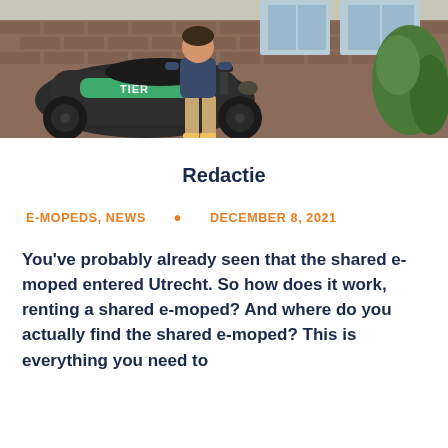[Figure (photo): Photo of a person standing next to a green TIER electric moped in front of a brick building with vegetation]
Redactie
E-MOPEDS, NEWS • DECEMBER 8, 2021
You've probably already seen that the shared e-moped entered Utrecht. So how does it work, renting a shared e-moped? And where do you actually find the shared e-moped? This is everything you need to